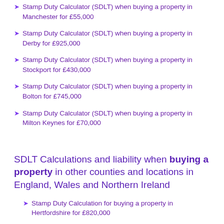Stamp Duty Calculator (SDLT) when buying a property in Manchester for £55,000
Stamp Duty Calculator (SDLT) when buying a property in Derby for £925,000
Stamp Duty Calculator (SDLT) when buying a property in Stockport for £430,000
Stamp Duty Calculator (SDLT) when buying a property in Bolton for £745,000
Stamp Duty Calculator (SDLT) when buying a property in Milton Keynes for £70,000
SDLT Calculations and liability when buying a property in other counties and locations in England, Wales and Northern Ireland
Stamp Duty Calculation for buying a property in Hertfordshire for £820,000